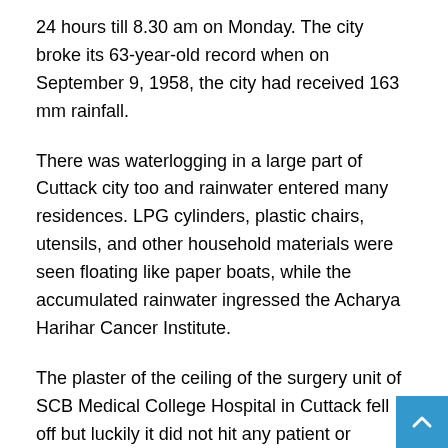24 hours till 8.30 am on Monday. The city broke its 63-year-old record when on September 9, 1958, the city had received 163 mm rainfall.
There was waterlogging in a large part of Cuttack city too and rainwater entered many residences. LPG cylinders, plastic chairs, utensils, and other household materials were seen floating like paper boats, while the accumulated rainwater ingressed the Acharya Harihar Cancer Institute.
The plaster of the ceiling of the surgery unit of SCB Medical College Hospital in Cuttack fell off but luckily it did not hit any patient or attendant, an official said.
Cuttack Municipal Corporation (CMC) commissioner Ananya Das said 200 pump sets are evacuating water from low laying areas and people in affected areas are being given dry food.